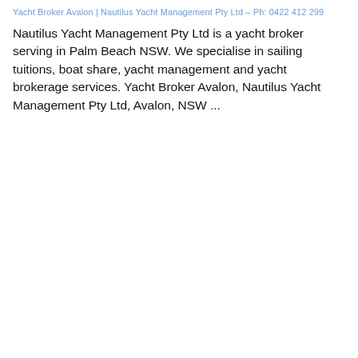Yacht Broker Avalon | Nautilus Yacht Management Pty Ltd – Ph: 0422 412 299
Nautilus Yacht Management Pty Ltd is a yacht broker serving in Palm Beach NSW. We specialise in sailing tuitions, boat share, yacht management and yacht brokerage services. Yacht Broker Avalon, Nautilus Yacht Management Pty Ltd, Avalon, NSW ...